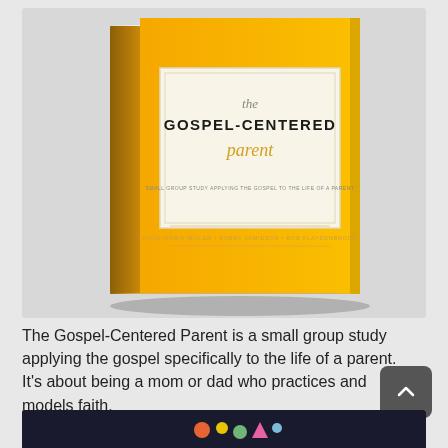[Figure (photo): A book cover for 'The Gospel-Centered Parent' shown as a 3D book. The cover is bright yellow/orange with a white rectangle inset containing the title text. 'the' appears in small italic script, 'GOSPEL-CENTERED' in bold black uppercase letters, and 'parent' in golden italic script. Below are subtitle lines in small text and author names near the bottom.]
The Gospel-Centered Parent is a small group study applying the gospel specifically to the life of a parent. It's about being a mom or dad who practices and models faith.
[Figure (photo): Partial view of another book cover at the bottom of the page, dark background with colorful illustrated animal/creature figures.]